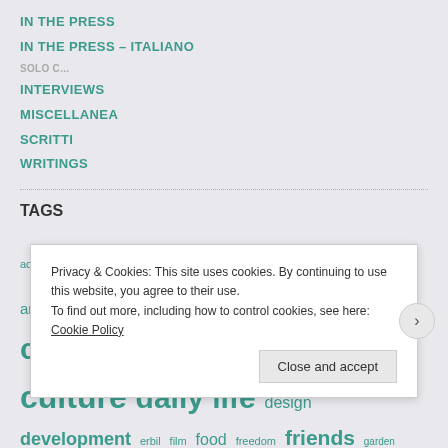IN THE PRESS
IN THE PRESS – ITALIANO
INTERVIEWS
MISCELLANEA
SCRITTI
WRITINGS
TAGS
academy afghanistan agha shahid ali art arte beauty berang blog book collaboration conflict conversation conversazione cultura culture daily life design development erbil film food freedom friends garden geography geopolitics guerra heritage Institute of Afghan Arts and Architecture interview intervista Kabul l [partial] l [partial] [partial]
Privacy & Cookies: This site uses cookies. By continuing to use this website, you agree to their use.
To find out more, including how to control cookies, see here: Cookie Policy
Close and accept